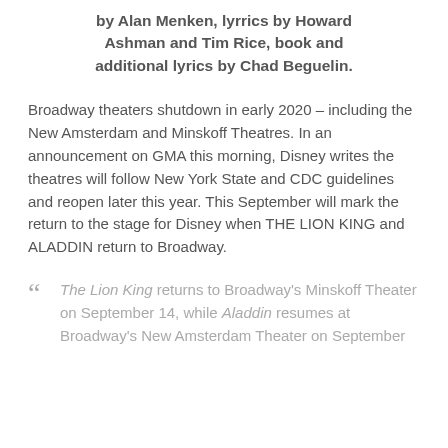by Alan Menken, lyrrics by Howard Ashman and Tim Rice, book and additional lyrics by Chad Beguelin.
Broadway theaters shutdown in early 2020 – including the New Amsterdam and Minskoff Theatres. In an announcement on GMA this morning, Disney writes the theatres will follow New York State and CDC guidelines and reopen later this year. This September will mark the return to the stage for Disney when THE LION KING and ALADDIN return to Broadway.
The Lion King returns to Broadway's Minskoff Theater on September 14, while Aladdin resumes at Broadway's New Amsterdam Theater on September